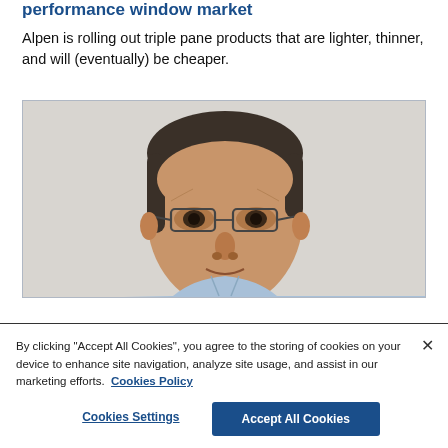performance window market
Alpen is rolling out triple pane products that are lighter, thinner, and will (eventually) be cheaper.
[Figure (photo): Headshot photo of a middle-aged man with dark hair and glasses, wearing a light blue shirt, against a light background]
By clicking "Accept All Cookies", you agree to the storing of cookies on your device to enhance site navigation, analyze site usage, and assist in our marketing efforts.  Cookies Policy
Cookies Settings
Accept All Cookies